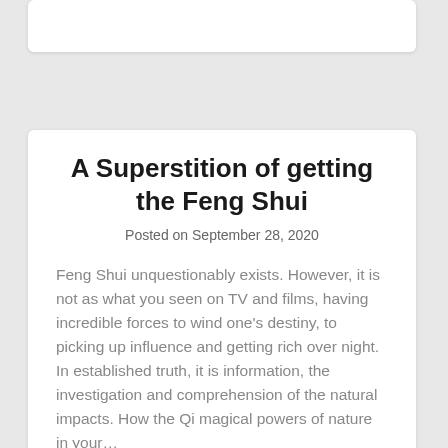A Superstition of getting the Feng Shui
Posted on September 28, 2020
Feng Shui unquestionably exists. However, it is not as what you seen on TV and films, having incredible forces to wind one’s destiny, to picking up influence and getting rich over night.  In established truth, it is information, the investigation and comprehension of the natural impacts. How the Qi magical powers of nature in your…